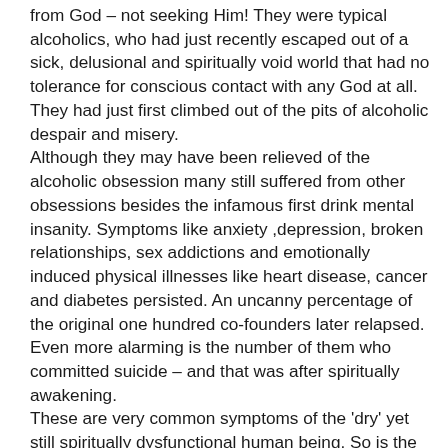from God – not seeking Him! They were typical alcoholics, who had just recently escaped out of a sick, delusional and spiritually void world that had no tolerance for conscious contact with any God at all. They had just first climbed out of the pits of alcoholic despair and misery. Although they may have been relieved of the alcoholic obsession many still suffered from other obsessions besides the infamous first drink mental insanity. Symptoms like anxiety ,depression, broken relationships, sex addictions and emotionally induced physical illnesses like heart disease, cancer and diabetes persisted. An uncanny percentage of the original one hundred co-founders later relapsed. Even more alarming is the number of them who committed suicide – and that was after spiritually awakening. These are very common symptoms of the 'dry' yet still spiritually dysfunctional human being. So is the excuse making for all of it. They continue to smoke, overeat, and self-administer drugs like caffeine, nicotine and even obtain prescriptions of dangerous antidepressants just to get by. That is because ALL their problems have not been answered; and that is because they don't actually follow the full spiritual package prescribed by their own Twelve Step